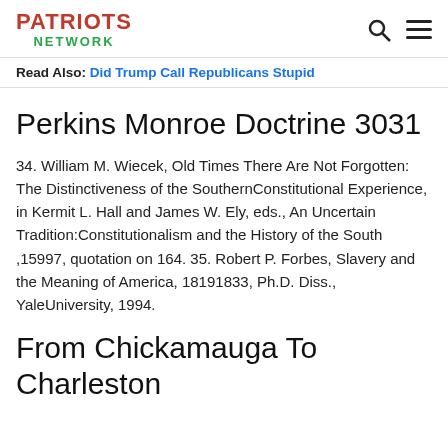PATRIOTS NETWORK
Read Also: Did Trump Call Republicans Stupid
Perkins Monroe Doctrine 3031
34. William M. Wiecek, Old Times There Are Not Forgotten: The Distinctiveness of the SouthernConstitutional Experience, in Kermit L. Hall and James W. Ely, eds., An Uncertain Tradition:Constitutionalism and the History of the South ,15997, quotation on 164. 35. Robert P. Forbes, Slavery and the Meaning of America, 18191833, Ph.D. Diss., YaleUniversity, 1994.
From Chickamauga To Charleston